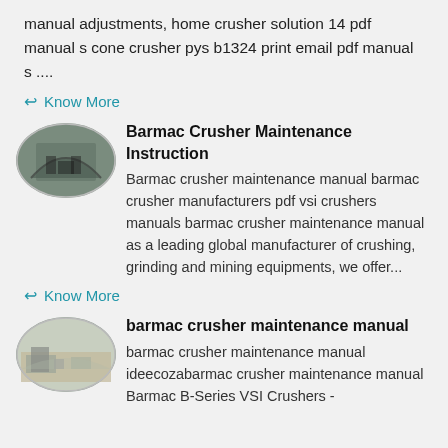manual adjustments, home crusher solution 14 pdf manual s cone crusher pys b1324 print email pdf manual s ....
Know More
[Figure (photo): Oval-shaped photo of industrial crusher equipment inside a warehouse or large facility]
Barmac Crusher Maintenance Instruction
Barmac crusher maintenance manual barmac crusher manufacturers pdf vsi crushers manuals barmac crusher maintenance manual as a leading global manufacturer of crushing, grinding and mining equipments, we offer...
Know More
[Figure (photo): Oval-shaped photo of outdoor crusher/mining equipment operation site]
barmac crusher maintenance manual
barmac crusher maintenance manual ideecozabarmac crusher maintenance manual Barmac B-Series VSI Crushers -